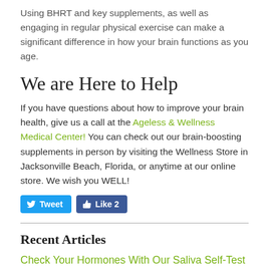Using BHRT and key supplements, as well as engaging in regular physical exercise can make a significant difference in how your brain functions as you age.
We are Here to Help
If you have questions about how to improve your brain health, give us a call at the Ageless & Wellness Medical Center! You can check out our brain-boosting supplements in person by visiting the Wellness Store in Jacksonville Beach, Florida, or anytime at our online store. We wish you WELL!
[Figure (other): Social media buttons: Tweet button (blue, Twitter) and Like 2 button (blue, Facebook)]
Recent Articles
Check Your Hormones With Our Saliva Self-Test